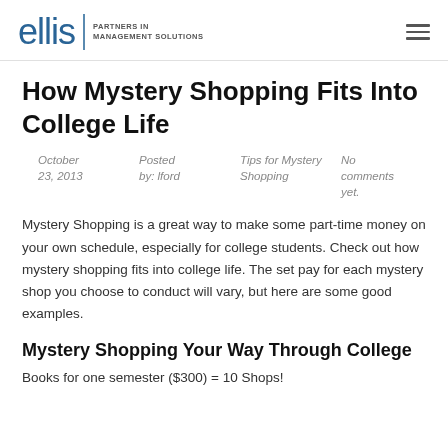ellis | PARTNERS IN MANAGEMENT SOLUTIONS
How Mystery Shopping Fits Into College Life
October 23, 2013   Posted by: lford   Tips for Mystery Shopping   No comments yet.
Mystery Shopping is a great way to make some part-time money on your own schedule, especially for college students. Check out how mystery shopping fits into college life. The set pay for each mystery shop you choose to conduct will vary, but here are some good examples.
Mystery Shopping Your Way Through College
Books for one semester ($300) = 10 Shops!